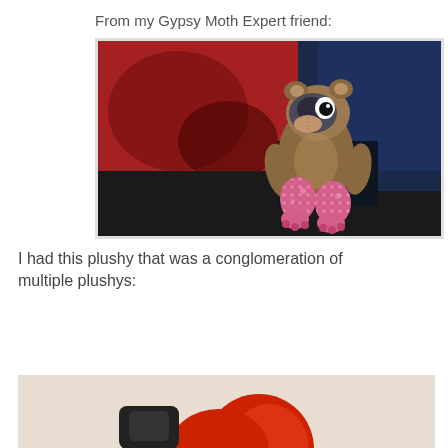From my Gypsy Moth Expert friend:
[Figure (photo): A painting of a teddy bear-like plush toy with a dark mask/helmet, brown body, and pink patterned legs, seated against a dramatic red and dark blue/black background.]
I had this plushy that was a conglomeration of multiple plushys:
[Figure (photo): A partial photo showing a person with bright red hair and a black object (possibly a stuffed animal) in the lower portion of the frame, against a light beige wall.]